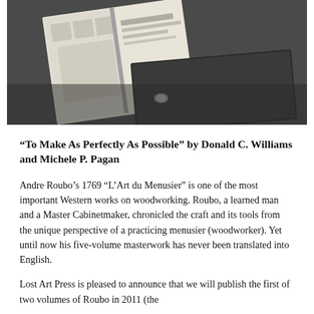[Figure (photo): Black and white photograph of open books on a table, showing illustrated pages with woodworking tool drawings and an open title page reading 'Menuisier']
“To Make As Perfectly As Possible” by Donald C. Williams and Michele P. Pagan
Andre Roubo’s 1769 “L’Art du Menusier” is one of the most important Western works on woodworking. Roubo, a learned man and a Master Cabinetmaker, chronicled the craft and its tools from the unique perspective of a practicing menusier (woodworker). Yet until now his five-volume masterwork has never been translated into English.
Lost Art Press is pleased to announce that we will publish the first of two volumes of Roubo in 2011 (the